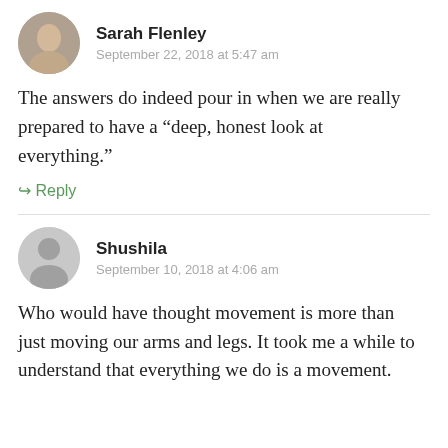Sarah Flenley
September 22, 2018 at 5:47 am
The answers do indeed pour in when we are really prepared to have a “deep, honest look at everything.”
↪ Reply
Shushila
September 10, 2018 at 4:06 am
Who would have thought movement is more than just moving our arms and legs. It took me a while to understand that everything we do is a movement.